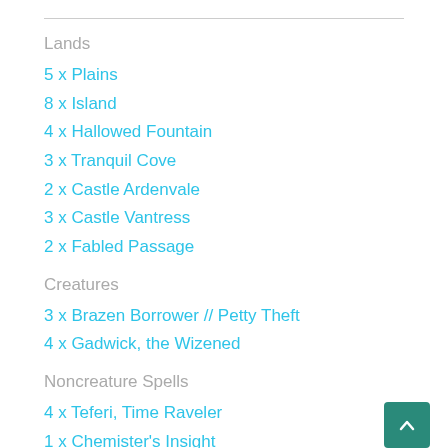Lands
5 x Plains
8 x Island
4 x Hallowed Fountain
3 x Tranquil Cove
2 x Castle Ardenvale
3 x Castle Vantress
2 x Fabled Passage
Creatures
3 x Brazen Borrower // Petty Theft
4 x Gadwick, the Wizened
Noncreature Spells
4 x Teferi, Time Raveler
1 x Chemister's Insight
2 x Essence Capture